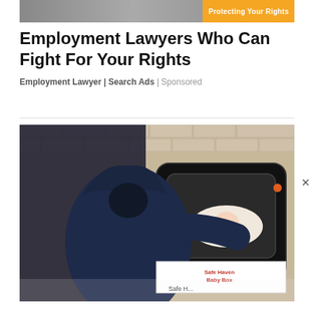[Figure (photo): Advertisement banner image at top with orange 'Protecting Your Rights' label on right side]
Employment Lawyers Who Can Fight For Your Rights
Employment Lawyer | Search Ads | Sponsored
[Figure (photo): Person in dark hoodie placing or retrieving a baby from a Safe Haven Baby Box mounted on a brick wall. A sign reading 'Safe Haven Baby Box' and 'Safe H...' is visible at the bottom of the box.]